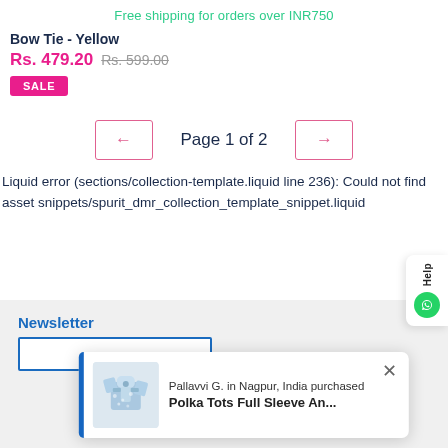Free shipping for orders over INR750
Bow Tie - Yellow
Rs. 479.20  Rs. 599.00
SALE
Page 1 of 2
Liquid error (sections/collection-template.liquid line 236): Could not find asset snippets/spurit_dmr_collection_template_snippet.liquid
Newsletter
Pallavvi G. in Nagpur, India purchased
Polka Tots Full Sleeve An...